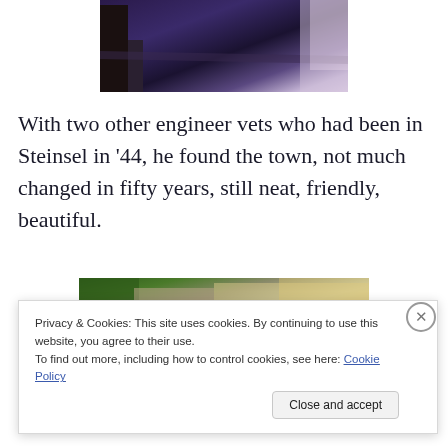[Figure (photo): Top portion of a photograph showing a dark purple/night scene with a figure and architectural elements]
With two other engineer vets who had been in Steinsel in '44, he found the town, not much changed in fifty years, still neat, friendly, beautiful.
[Figure (photo): Bottom portion of a photograph showing a building facade with green trees and architectural details]
Privacy & Cookies: This site uses cookies. By continuing to use this website, you agree to their use.
To find out more, including how to control cookies, see here: Cookie Policy
Close and accept